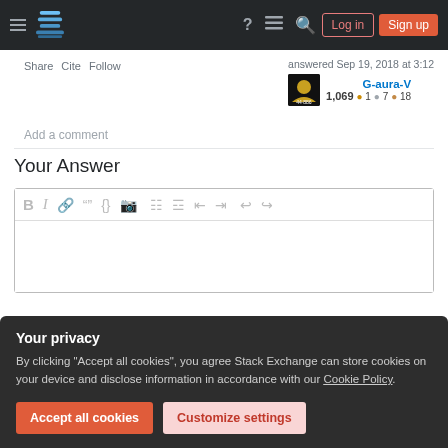Stack Exchange navigation bar with Log in and Sign up buttons
Share  Cite  Follow
answered Sep 19, 2018 at 3:12
G-aura-V
1,069 ●1 ●7 ●18
Add a comment
Your Answer
[Figure (screenshot): Rich text editor toolbar with bold, italic, link, quote, code, image, ordered list, unordered list, alignment, undo, redo icons]
Your privacy
By clicking "Accept all cookies", you agree Stack Exchange can store cookies on your device and disclose information in accordance with our Cookie Policy.
Accept all cookies
Customize settings